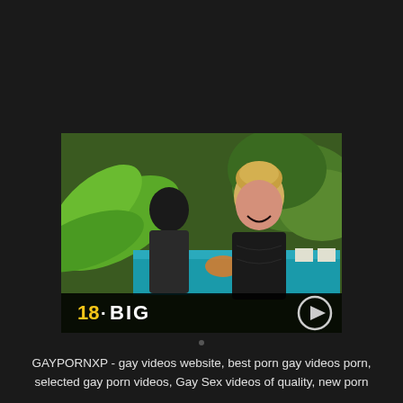[Figure (photo): Video thumbnail showing two young men outdoors near a swimming pool with tropical foliage in the background. Overlay bar at the bottom shows '18·BIG' logo in yellow/white text on black semi-transparent background, with a circular play button on the right.]
GAYPORNXP - gay videos website, best porn gay videos porn, selected gay porn videos, Gay Sex videos of quality, new porn